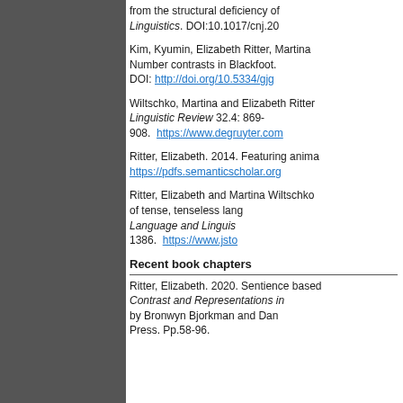from the structural deficiency of Linguistics. DOI:10.1017/cnj.20
Kim, Kyumin, Elizabeth Ritter, Martina Number contrasts in Blackfoot. DOI: http://doi.org/10.5334/gjg
Wiltschko, Martina and Elizabeth Ritter Linguistic Review 32.4: 869-908. https://www.degruyter.com
Ritter, Elizabeth. 2014. Featuring anima https://pdfs.semanticscholar.org
Ritter, Elizabeth and Martina Wiltschko of tense, tenseless lang Language and Linguis 1386. https://www.jsto
Recent book chapters
Ritter, Elizabeth. 2020. Sentience based Contrast and Representations in by Bronwyn Bjorkman and Dan Press. Pp.58-96.